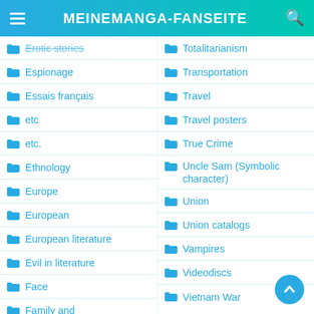MEINEMANGA-FANSEITE
Erotic stories
Espionage
Essais français
etc
etc.
Ethnology
Europe
European
European literature
Evil in literature
Face
Family and
Totalitarianism
Transportation
Travel
Travel posters
True Crime
Uncle Sam (Symbolic character)
Union
Union catalogs
Vampires
Videodiscs
Vietnam War